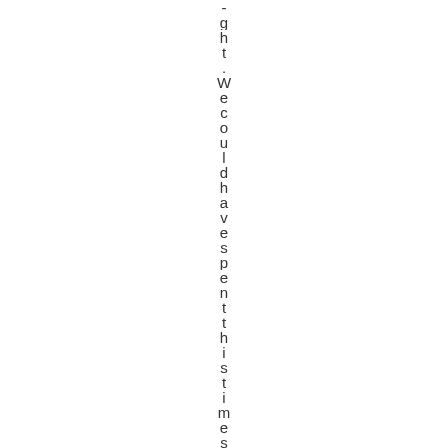ight .Wecouldhavspentthistimes I